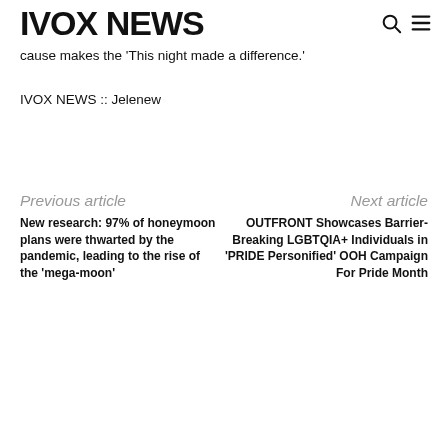IVOX NEWS
cause makes the 'This night made a difference.'
IVOX NEWS :: Jelenew
Previous article
New research: 97% of honeymoon plans were thwarted by the pandemic, leading to the rise of the 'mega-moon'
Next article
OUTFRONT Showcases Barrier-Breaking LGBTQIA+ Individuals in 'PRIDE Personified' OOH Campaign For Pride Month